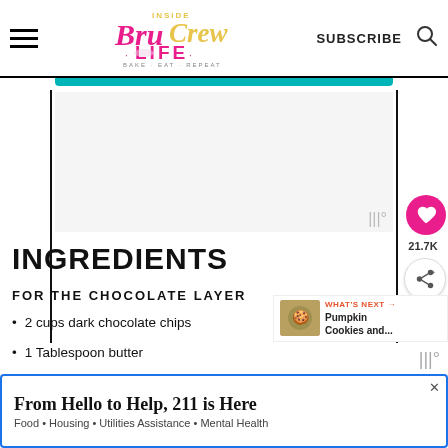Inside BruCrew Life — SUBSCRIBE
[Figure (other): Alzheimer's Association advertisement banner: It's time to talk about Alzheimer's. LEARN MORE]
[Figure (other): Gray blank advertisement area with mute icon]
INGREDIENTS
FOR THE CHOCOLATE LAYER
2 cups dark chocolate chips
1 Tablespoon butter
[Figure (other): Bottom advertisement: From Hello to Help, 211 is Here. Food • Housing • Utilities Assistance • Mental Health]